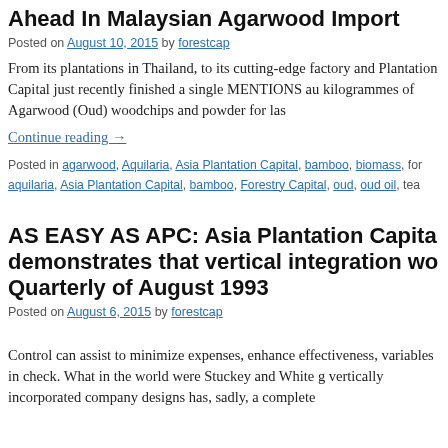Ahead In Malaysian Agarwood Import
Posted on August 10, 2015 by forestcap
From its plantations in Thailand, to its cutting-edge factory and Plantation Capital just recently finished a single MENTIONS au kilogrammes of Agarwood (Oud) woodchips and powder for las
Continue reading →
Posted in agarwood, Aquilaria, Asia Plantation Capital, bamboo, biomass, for aquilaria, Asia Plantation Capital, bamboo, Forestry Capital, oud, oud oil, tea
AS EASY AS APC: Asia Plantation Capita demonstrates that vertical integration wo Quarterly of August 1993
Posted on August 6, 2015 by forestcap
Control can assist to minimize expenses, enhance effectiveness, variables in check. What in the world were Stuckey and White g vertically incorporated company designs has, sadly, a complete